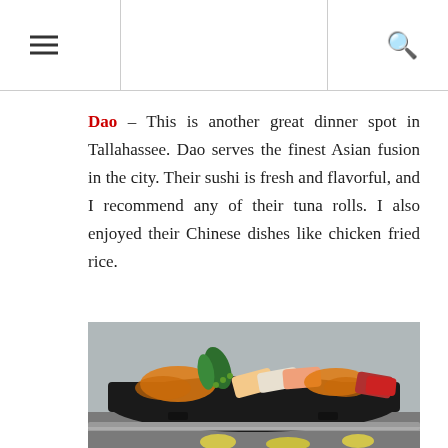Dao – This is another great dinner spot in Tallahassee. Dao serves the finest Asian fusion in the city. Their sushi is fresh and flavorful, and I recommend any of their tuna rolls. I also enjoyed their Chinese dishes like chicken fried rice.
[Figure (photo): A platter of sashimi and sushi with orange fried noodle garnish, sliced tuna, salmon, and white fish arranged on a dark black rectangular plate, served on a counter surface.]